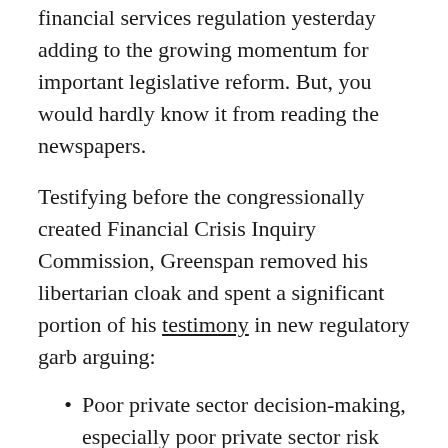financial services regulation yesterday adding to the growing momentum for important legislative reform. But, you would hardly know it from reading the newspapers.
Testifying before the congressionally created Financial Crisis Inquiry Commission, Greenspan removed his libertarian cloak and spent a significant portion of his testimony in new regulatory garb arguing:
Poor private sector decision-making, especially poor private sector risk management and creation of incomprehensible financial products, lead to the credit crisis.